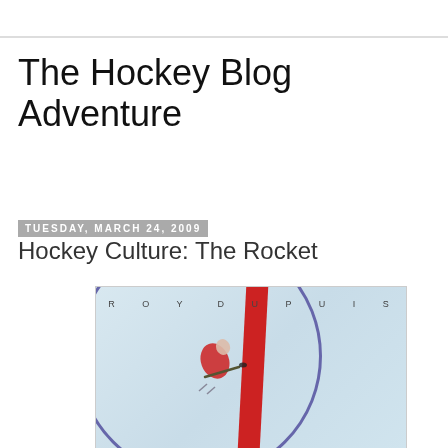The Hockey Blog Adventure
Tuesday, March 24, 2009
Hockey Culture: The Rocket
[Figure (photo): Movie poster or book cover for 'The Rocket' featuring Roy Dupuis. Aerial view of a hockey player on ice with a red center line and blue circle arc, text 'ROY DUPUIS' at the top.]